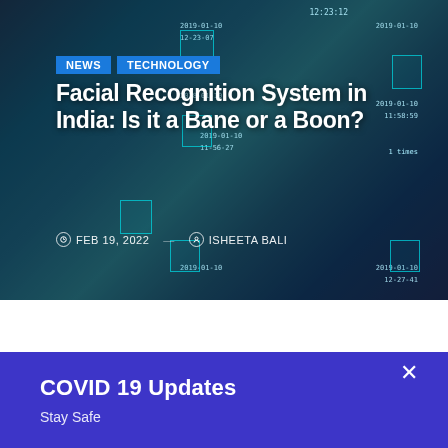[Figure (photo): Hero image showing facial recognition system overlaying faces with detection boxes, timestamps like 2019-01-10, and person identification data on a dark teal/blue background]
Facial Recognition System in India: Is it a Bane or a Boon?
FEB 19, 2022  ISHEETA BALI
News Caravan
COVID 19 Updates
Stay Safe